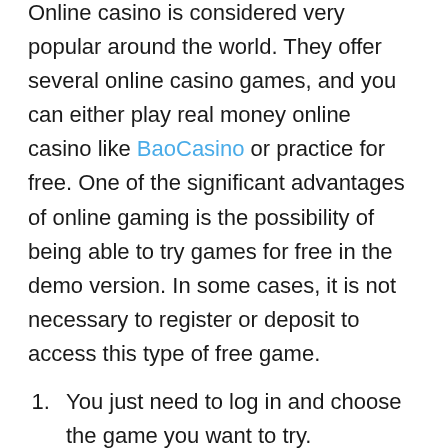Online casino is considered very popular around the world. They offer several online casino games, and you can either play real money online casino like BaoCasino or practice for free. One of the significant advantages of online gaming is the possibility of being able to try games for free in the demo version. In some cases, it is not necessary to register or deposit to access this type of free game.
You just need to log in and choose the game you want to try.
This method allows you to try all the features of the games for free so that you can better understand the rules and how the game works before starting to play for real money.
However, some games are not available for free, for example, progressive jackpot slots and live casino games. These two online games are available only in real